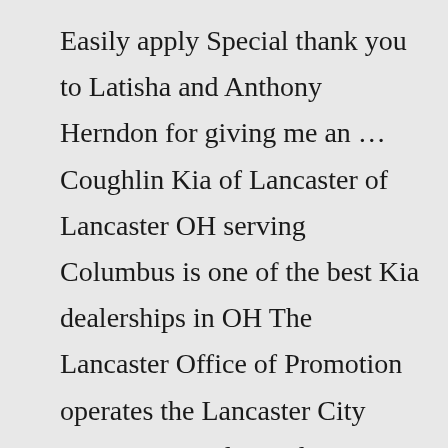Easily apply Special thank you to Latisha and Anthony Herndon for giving me an … Coughlin Kia of Lancaster of Lancaster OH serving Columbus is one of the best Kia dealerships in OH The Lancaster Office of Promotion operates the Lancaster City Visitor Center located at 38 Penn Square Lancaster, PA 17601 Sales Clerk and Music buyer's secretary at Provident Bookstore – 1999-2007 $8 - $10 an hour Member Login;